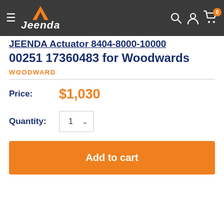Jeenda (logo) — navigation header with search, account, and cart icons
JEENDA Actuator 8404-8000-10000 00251 17360483 for Woodwards
WOODWARD
Price: $1,030
Quantity: 1
Add to cart